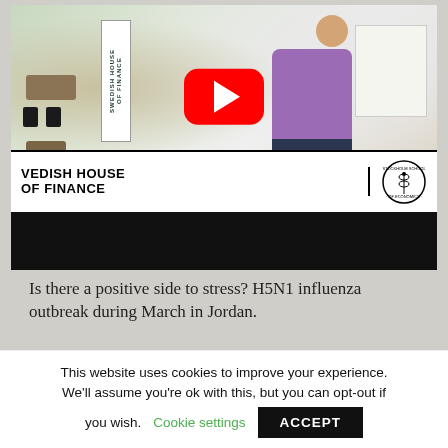[Figure (screenshot): YouTube video thumbnail showing a man in a purple shirt presenting at Swedish House of Finance / Stockholm School of Economics. A YouTube play button overlay is visible. The video title area shows 'SWEDISH HOUSE OF FINANCE' banner and Stockholm School of Economics logo.]
Is there a positive side to stress? H5N1 influenza outbreak during March in Jordan.
This website uses cookies to improve your experience. We'll assume you're ok with this, but you can opt-out if you wish. Cookie settings ACCEPT